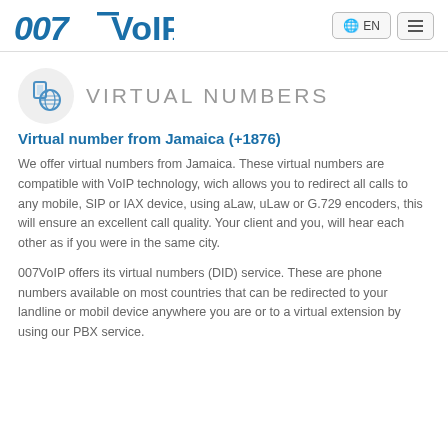007VoIP.com EN
[Figure (logo): 007VoIP.com logo with phone and globe icon]
VIRTUAL NUMBERS
Virtual number from Jamaica (+1876)
We offer virtual numbers from Jamaica. These virtual numbers are compatible with VoIP technology, wich allows you to redirect all calls to any mobile, SIP or IAX device, using aLaw, uLaw or G.729 encoders, this will ensure an excellent call quality. Your client and you, will hear each other as if you were in the same city.
007VoIP offers its virtual numbers (DID) service. These are phone numbers available on most countries that can be redirected to your landline or mobil device anywhere you are or to a virtual extension by using our PBX service.